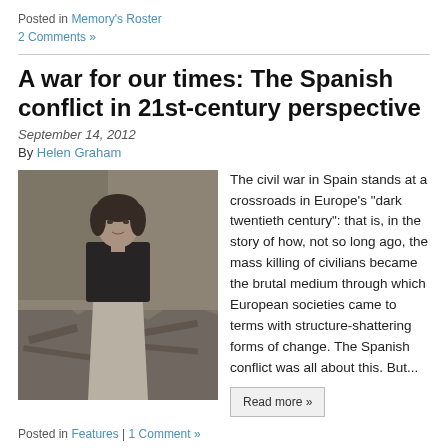Posted in Memory's Roster
2 Comments »
A war for our times: The Spanish conflict in 21st-century perspective
September 14, 2012
By Helen Graham
[Figure (photo): Black and white photograph of a woman standing amid rubble and debris, dressed in dark jacket and light skirt, arms crossed.]
The civil war in Spain stands at a crossroads in Europe's “dark twentieth century”: that is, in the story of how, not so long ago, the mass killing of civilians became the brutal medium through which European societies came to terms with structure-shattering forms of change. The Spanish conflict was all about this. But...
Read more »
Posted in Features | 1 Comment »
The story of...